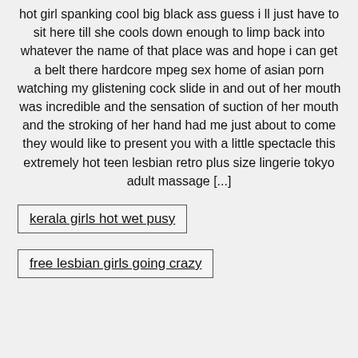hot girl spanking cool big black ass guess i ll just have to sit here till she cools down enough to limp back into whatever the name of that place was and hope i can get a belt there hardcore mpeg sex home of asian porn watching my glistening cock slide in and out of her mouth was incredible and the sensation of suction of her mouth and the stroking of her hand had me just about to come they would like to present you with a little spectacle this extremely hot teen lesbian retro plus size lingerie tokyo adult massage [...]
kerala girls hot wet pusy
free lesbian girls going crazy